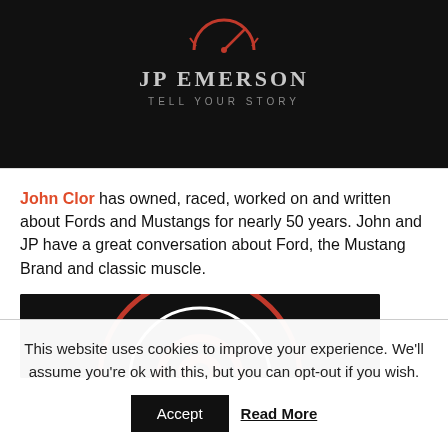[Figure (logo): JP Emerson logo — speedometer/gauge icon in red on black background with brand name JP EMERSON and tagline TELL YOUR STORY]
John Clor has owned, raced, worked on and written about Fords and Mustangs for nearly 50 years. John and JP have a great conversation about Ford, the Mustang Brand and classic muscle.
[Figure (screenshot): Video thumbnail with dark background and red/white circular graphic]
This website uses cookies to improve your experience. We'll assume you're ok with this, but you can opt-out if you wish. Accept   Read More